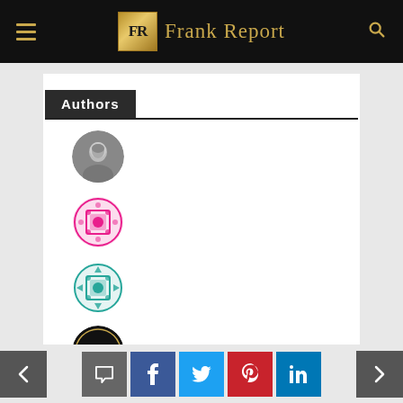Frank Report
Authors
[Figure (illustration): Black and white circular portrait photo of a woman]
[Figure (illustration): Pink geometric mandala-style circular avatar]
[Figure (illustration): Teal/turquoise geometric mandala-style circular avatar]
[Figure (logo): Black circle with FR logo inside]
[Figure (illustration): Beige/cream dotted geometric circular avatar]
Navigation and social share buttons: previous, comment, Facebook, Twitter, Pinterest, LinkedIn, next